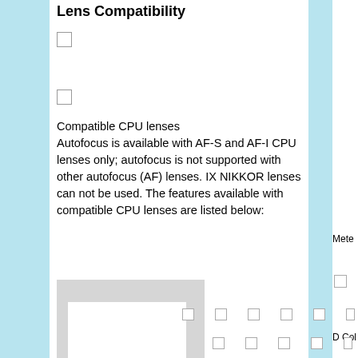Lens Compatibility
[Figure (other): Checkbox (unchecked)]
[Figure (other): Checkbox (unchecked)]
Compatible CPU lenses
Autofocus is available with AF-S and AF-I CPU lenses only; autofocus is not supported with other autofocus (AF) lenses. IX NIKKOR lenses can not be used. The features available with compatible CPU lenses are listed below:
[Figure (illustration): Gray placeholder image with white inner rectangle, representing a table or image for lens feature listing]